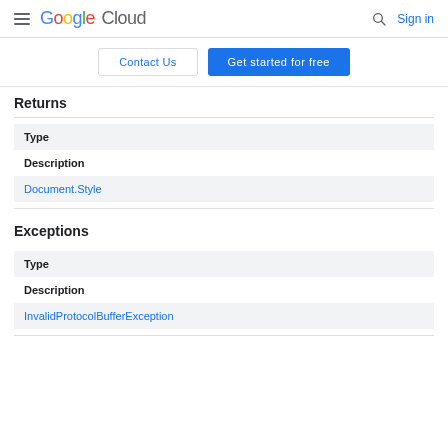Google Cloud  Sign in
Contact Us  Get started for free
Returns
| Type | Description |
| --- | --- |
| Document.Style |  |
Exceptions
| Type | Description |
| --- | --- |
| InvalidProtocolBufferException |  |